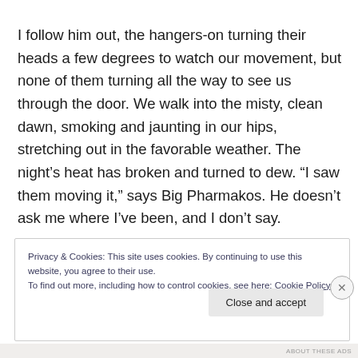I follow him out, the hangers-on turning their heads a few degrees to watch our movement, but none of them turning all the way to see us through the door. We walk into the misty, clean dawn, smoking and jaunting in our hips, stretching out in the favorable weather. The night’s heat has broken and turned to dew. “I saw them moving it,” says Big Pharmakos. He doesn’t ask me where I’ve been, and I don’t say.
Privacy & Cookies: This site uses cookies. By continuing to use this website, you agree to their use. To find out more, including how to control cookies, see here: Cookie Policy